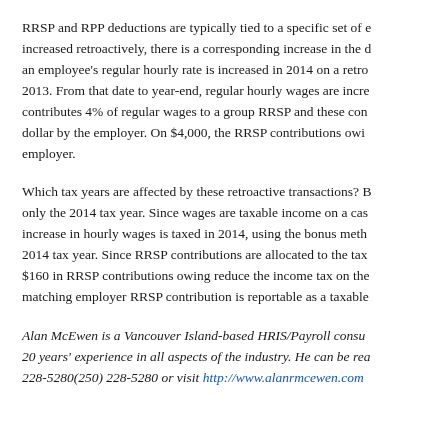RRSP and RPP deductions are typically tied to a specific set of earnings. If earnings are increased retroactively, there is a corresponding increase in the deductions. For example, if an employee's regular hourly rate is increased in 2014 on a retroactive basis back to June 2013. From that date to year-end, regular hourly wages are increased by $4,000. The employee contributes 4% of regular wages to a group RRSP and these contributions are matched dollar by dollar by the employer. On $4,000, the RRSP contributions owing are $160 from the employee and employer.
Which tax years are affected by these retroactive transactions? Both are affected, but only the 2014 tax year. Since wages are taxable income on a cash basis and paid in 2014, the increase in hourly wages is taxed in 2014, using the bonus method, and is reportable in the 2014 tax year. Since RRSP contributions are allocated to the tax year when paid, the $160 in RRSP contributions owing reduce the income tax on the bonus amount. The matching employer RRSP contribution is reportable as a taxable benefit in the 2014 tax year.
Alan McEwen is a Vancouver Island-based HRIS/Payroll consultant with over 20 years' experience in all aspects of the industry. He can be reached at (250) 228-5280(250) 228-5280 or visit http://www.alanrmcewen.com